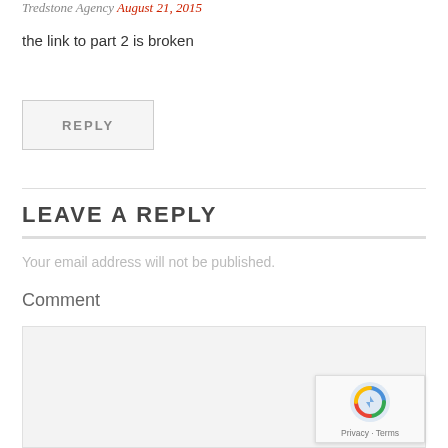Tredstone Agency August 21, 2015
the link to part 2 is broken
REPLY
LEAVE A REPLY
Your email address will not be published.
Comment